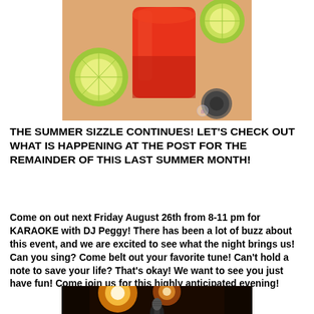[Figure (photo): A red/orange cocktail drink in a glass with lime slices on a wooden surface, photographed from above with a bottle cap visible.]
THE SUMMER SIZZLE CONTINUES! LET'S CHECK OUT WHAT IS HAPPENING AT THE POST FOR THE REMAINDER OF THIS LAST SUMMER MONTH!
Come on out next Friday August 26th from 8-11 pm for KARAOKE with DJ Peggy! There has been a lot of buzz about this event, and we are excited to see what the night brings us! Can you sing? Come belt out your favorite tune! Can't hold a note to save your life? That's okay! We want to see you just have fun! Come join us for this highly anticipated evening!
[Figure (photo): A microphone on stage with warm orange stage lights in the background, suggesting a karaoke or live performance setting.]